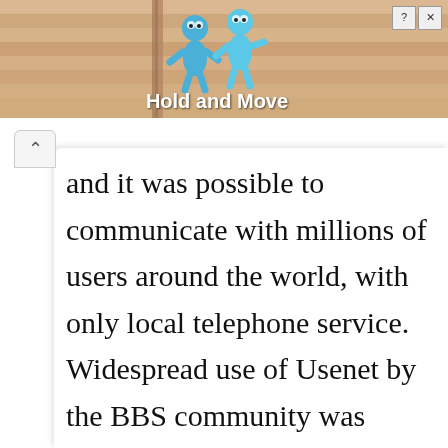[Figure (screenshot): Advertisement banner showing 'Hold and Move' game ad with blue cartoon figures and close/help buttons on a tan/beige background]
and it was possible to communicate with millions of users around the world, with only local telephone service. Widespread use of Usenet by the BBS community was facilitated by the introduction of UUCP feeds made possible by MS-DOS implementations of UUCP such as UFGATE (UUCP to FidoNet Gateway), FSUUCP and UUPC. In 1986, RFC 977 provided the Network News Transfer Protocol (NNTP)